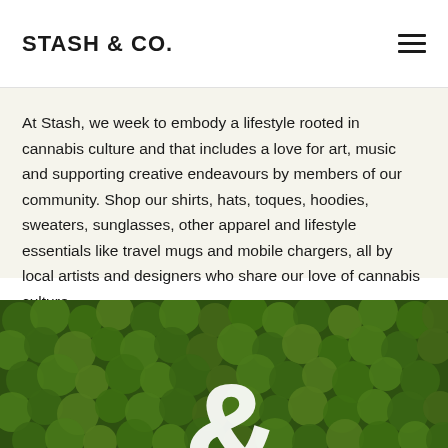STASH & CO.
At Stash, we week to embody a lifestyle rooted in cannabis culture and that includes a love for art, music and supporting creative endeavours by members of our community. Shop our shirts, hats, toques, hoodies, sweaters, sunglasses, other apparel and lifestyle essentials like travel mugs and mobile chargers, all by local artists and designers who share our love of cannabis culture.
[Figure (photo): Photograph showing a green moss wall background with a white metallic ampersand symbol partially visible at the bottom]